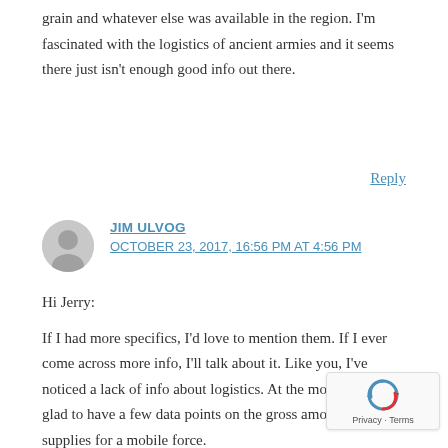grain and whatever else was available in the region. I'm fascinated with the logistics of ancient armies and it seems there just isn't enough good info out there.
Reply
JIM ULVOG
OCTOBER 23, 2017, 16:56 PM AT 4:56 PM
Hi Jerry:
If I had more specifics, I'd love to mention them. If I ever come across more info, I'll talk about it. Like you, I've noticed a lack of info about logistics. At the moment, I am glad to have a few data points on the gross amount of supplies for a mobile force.
By the way, I've copied all my discussions on ancient finance to my other blog, http://www.ancientfinance.com